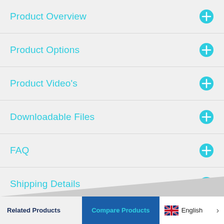Product Overview
Product Options
Product Video's
Downloadable Files
FAQ
Shipping Details
Related Products
Compare Products
English